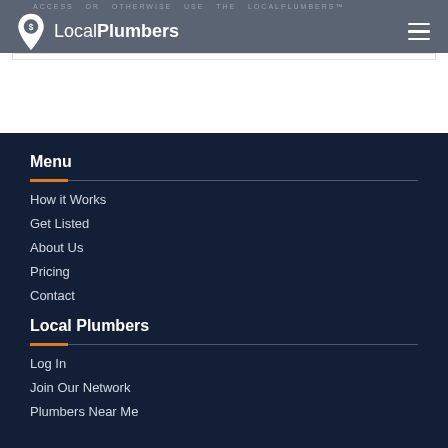ACCESS OR OTHERWISE USE THE LocalPlumbers™ REFERRING SALES...
[Figure (logo): LocalPlumbers logo with map pin icon and text 'LocalPlumbers']
Menu
How it Works
Get Listed
About Us
Pricing
Contact
Local Plumbers
Log In
Join Our Network
Plumbers Near Me